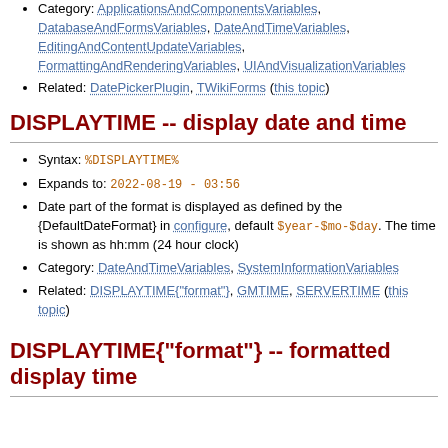Category: ApplicationsAndComponentsVariables, DatabaseAndFormsVariables, DateAndTimeVariables, EditingAndContentUpdateVariables, FormattingAndRenderingVariables, UIAndVisualizationVariables
Related: DatePickerPlugin, TWikiForms (this topic)
DISPLAYTIME -- display date and time
Syntax: %DISPLAYTIME%
Expands to: 2022-08-19 - 03:56
Date part of the format is displayed as defined by the {DefaultDateFormat} in configure, default $year-$mo-$day. The time is shown as hh:mm (24 hour clock)
Category: DateAndTimeVariables, SystemInformationVariables
Related: DISPLAYTIME{"format"}, GMTIME, SERVERTIME (this topic)
DISPLAYTIME{"format"} -- formatted display time